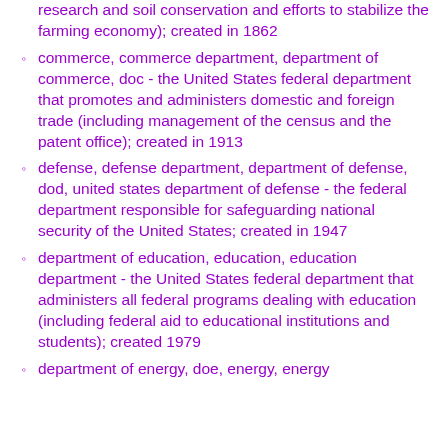research and soil conservation and efforts to stabilize the farming economy); created in 1862
commerce, commerce department, department of commerce, doc - the United States federal department that promotes and administers domestic and foreign trade (including management of the census and the patent office); created in 1913
defense, defense department, department of defense, dod, united states department of defense - the federal department responsible for safeguarding national security of the United States; created in 1947
department of education, education, education department - the United States federal department that administers all federal programs dealing with education (including federal aid to educational institutions and students); created 1979
department of energy, doe, energy, energy...